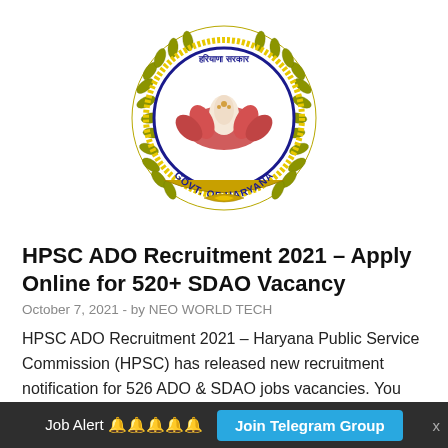[Figure (logo): Government of Haryana emblem/seal — circular seal with yellow laurel wreath, red lotus flower in center, blue text reading GOVT. OF HARYANA around the bottom, and Hindi text at top]
HPSC ADO Recruitment 2021 – Apply Online for 520+ SDAO Vacancy
October 7, 2021  -  by NEO WORLD TECH
HPSC ADO Recruitment 2021 – Haryana Public Service Commission (HPSC) has released new recruitment notification for 526 ADO & SDAO jobs vacancies. You will find complete information about this job …
Job Alert 🔔🔔🔔🔔🔔   Join Telegram Group